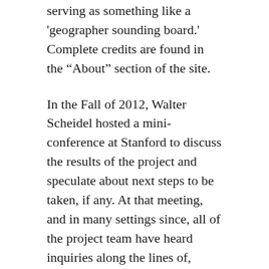serving as something like a 'geographer sounding board.' Complete credits are found in the “About” section of the site.
In the Fall of 2012, Walter Scheidel hosted a mini-conference at Stanford to discuss the results of the project and speculate about next steps to be taken, if any. At that meeting, and in many settings since, all of the project team have heard inquiries along the lines of, “how can I make an Orbis of _____?” I think it’s fair to say Walter, Elijah and I all thought that was a commendable goal, but there wasn’t the time or funding context for it.
Not that I didn’t try: in 2015 I led the authoring of an NSF proposal titled “The Orbis